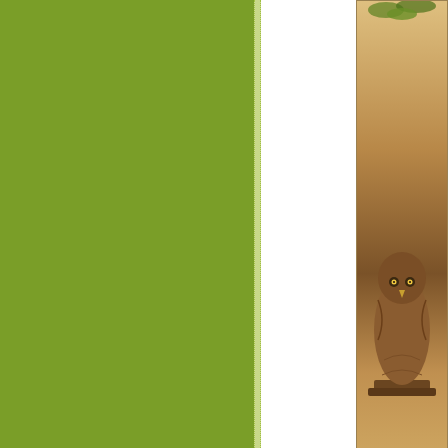[Figure (photo): A wooden owl sculpture or figurine shown against a beige/tan background, partially cut off at the right edge of the page]
Pi
I love owls!  I love pussycats!  I can re in a minute!
The above owl and kitten have becom Hampshire, UK.  This kitten has becor
I've always loved cats.  I grew up with Cornwall and visited an owl sanctuary right next to the walls of the cage, whe thing to do, to stick my fingers through experience.  You know the way when exactly what these little owls did!  And moment.
So since that time the idea of an owl a seemed completely logical.  They are
And to make this poem even more spe